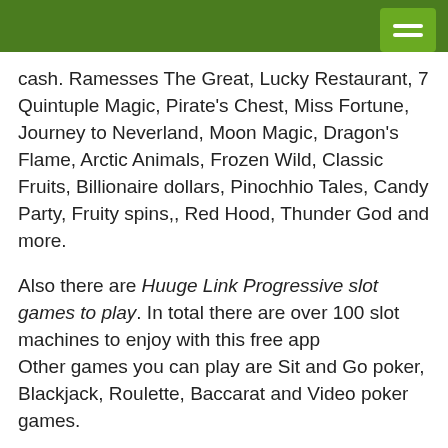cash. Ramesses The Great, Lucky Restaurant, 7 Quintuple Magic, Pirate's Chest, Miss Fortune, Journey to Neverland, Moon Magic, Dragon's Flame, Arctic Animals, Frozen Wild, Classic Fruits, Billionaire dollars, Pinochhio Tales, Candy Party, Fruity spins,, Red Hood, Thunder God and more.
Also there are Huuge Link Progressive slot games to play. In total there are over 100 slot machines to enjoy with this free app
Other games you can play are Sit and Go poker, Blackjack, Roulette, Baccarat and Video poker games.
Features of Billionaire casino App